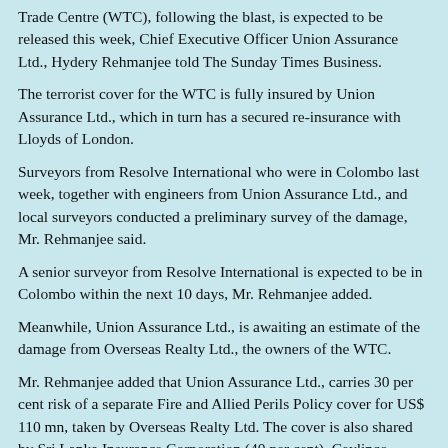Trade Centre (WTC), following the blast, is expected to be released this week, Chief Executive Officer Union Assurance Ltd., Hydery Rehmanjee told The Sunday Times Business.
The terrorist cover for the WTC is fully insured by Union Assurance Ltd., which in turn has a secured re-insurance with Lloyds of London.
Surveyors from Resolve International who were in Colombo last week, together with engineers from Union Assurance Ltd., and local surveyors conducted a preliminary survey of the damage, Mr. Rehmanjee said.
A senior surveyor from Resolve International is expected to be in Colombo within the next 10 days, Mr. Rehmanjee added.
Meanwhile, Union Assurance Ltd., is awaiting an estimate of the damage from Overseas Realty Ltd., the owners of the WTC.
Mr. Rehmanjee added that Union Assurance Ltd., carries 30 per cent risk of a separate Fire and Allied Perils Policy cover for US$ 110 mn, taken by Overseas Realty Ltd. The cover is also shared by Sri Lanka Insurance Corporation (40 per cent), Ceylinco Insurance (15 per cent) and CTC Eagle (15 per cent).
The damage to the World Trade Centre (WTC) Twin Towers is